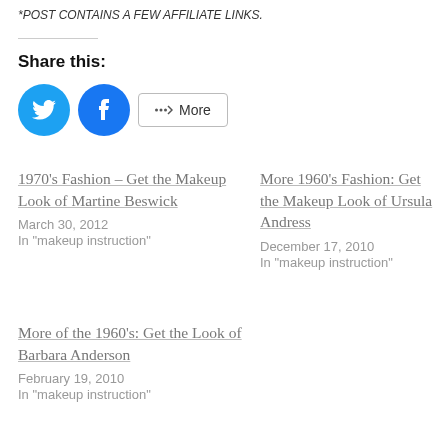*POST CONTAINS A FEW AFFILIATE LINKS.
Share this:
[Figure (other): Social share buttons: Twitter, Facebook circles and More button]
1970's Fashion – Get the Makeup Look of Martine Beswick
March 30, 2012
In "makeup instruction"
More 1960's Fashion: Get the Makeup Look of Ursula Andress
December 17, 2010
In "makeup instruction"
More of the 1960's: Get the Look of Barbara Anderson
February 19, 2010
In "makeup instruction"